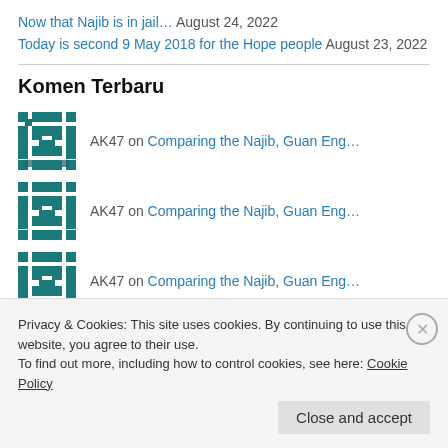Now that Najib is in jail… August 24, 2022
Today is second 9 May 2018 for the Hope people August 23, 2022
Komen Terbaru
AK47 on Comparing the Najib, Guan Eng…
AK47 on Comparing the Najib, Guan Eng…
AK47 on Comparing the Najib, Guan Eng…
AK47 on Kit Siang's Freudian slip and…
Privacy & Cookies: This site uses cookies. By continuing to use this website, you agree to their use. To find out more, including how to control cookies, see here: Cookie Policy